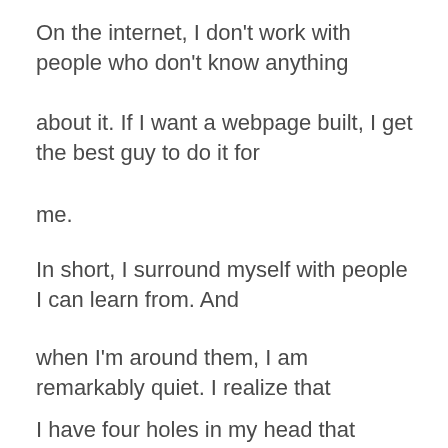On the internet, I don't work with people who don't know anything
about it. If I want a webpage built, I get the best guy to do it for
me.
In short, I surround myself with people I can learn from. And
when I'm around them, I am remarkably quiet. I realize that
I have four holes in my head that absorb